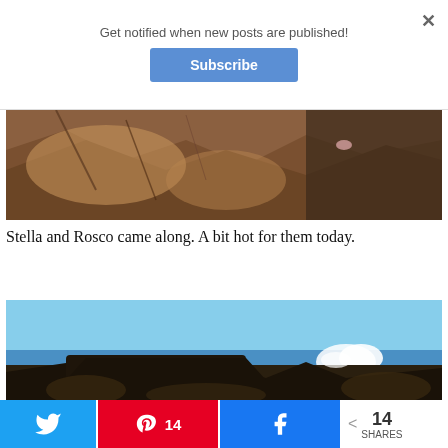Get notified when new posts are published!
Subscribe
[Figure (photo): Close-up of rocky surface, brownish-orange and dark rocks, with part of a dog visible]
Stella and Rosco came along. A bit hot for them today.
[Figure (photo): Coastal landscape with dark rocky foreground, ocean waves crashing against rocks, blue sky in background]
14 SHARES